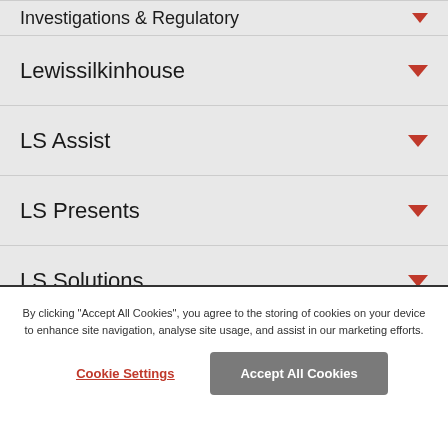Investigations & Regulatory
Lewissilkinhouse
LS Assist
LS Presents
LS Solutions
LS Unlock
Partnerships & LLPs
By clicking "Accept All Cookies", you agree to the storing of cookies on your device to enhance site navigation, analyse site usage, and assist in our marketing efforts.
Cookie Settings
Accept All Cookies